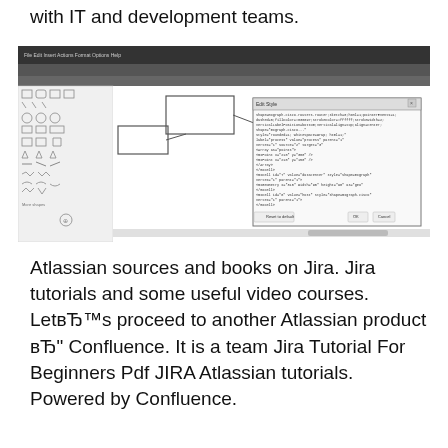with IT and development teams.
[Figure (screenshot): Screenshot of a software application (likely a diagramming or drawing tool) showing a canvas with geometric shapes and a dialog box or code editor window open on top, displaying XML or code content. The interface has a dark toolbar at the top and a panel of shape icons on the left side.]
Atlassian sources and books on Jira. Jira tutorials and some useful video courses. LetвЂ™s proceed to another Atlassian product вЂ“ Confluence. It is a team Jira Tutorial For Beginners Pdf JIRA Atlassian tutorials. Powered by Confluence. Learn JIRA Learn Download free JIRA Tutorial for ...